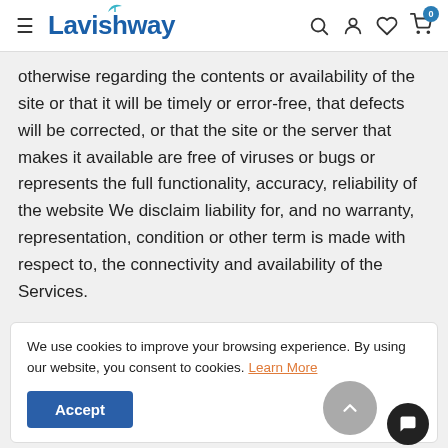Lavishway
otherwise regarding the contents or availability of the site or that it will be timely or error-free, that defects will be corrected, or that the site or the server that makes it available are free of viruses or bugs or represents the full functionality, accuracy, reliability of the website We disclaim liability for, and no warranty, representation, condition or other term is made with respect to, the connectivity and availability of the Services.
We use cookies to improve your browsing experience. By using our website, you consent to cookies. Learn More
solely responsible for such content. We do not: (i) warrant